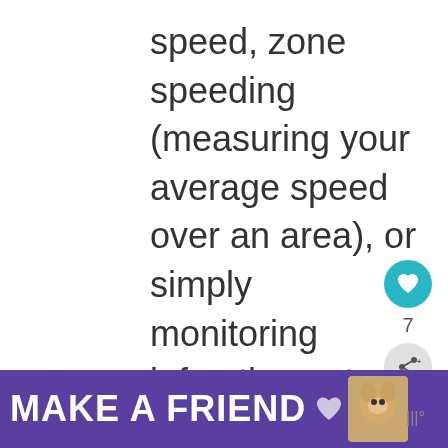speed, zone speeding (measuring your average speed over an area), or simply monitoring infractions at intersections. These are frequent but well noted both via signage and also via our car's GPS (which already had many landmarks pre-
[Figure (other): Social media sidebar UI: heart/like button (teal circle with heart icon), count label '7', share button (grey circle with share icon)]
[Figure (other): What's Next widget: thumbnail photo of landscape, label 'WHAT'S NEXT →', title 'Hiking Tips for the Yeongsil...']
[Figure (other): Advertisement banner with purple background reading 'MAKE A FRIEND' with dog image and heart icon, close button X]
[Figure (other): Weather widget showing temperature symbol]